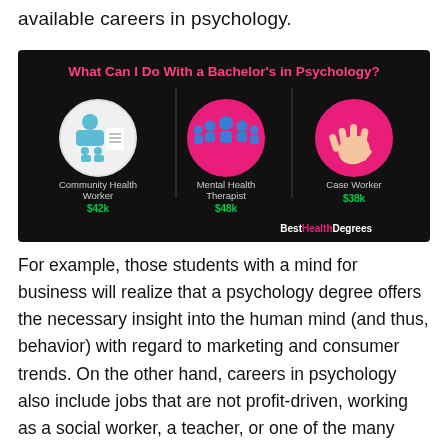available careers in psychology.
[Figure (infographic): Infographic on dark background titled 'What Can I Do With a Bachelor's in Psychology?' showing three career options with icons and salaries: Community Health Worker $42k, Mental Health Therapist $48k, Case Worker $38k. Source: BestHealthDegrees.]
For example, those students with a mind for business will realize that a psychology degree offers the necessary insight into the human mind (and thus, behavior) with regard to marketing and consumer trends. On the other hand, careers in psychology also include jobs that are not profit-driven, working as a social worker, a teacher, or one of the many Bachelors in Psychology entry-level jobs in counseling.